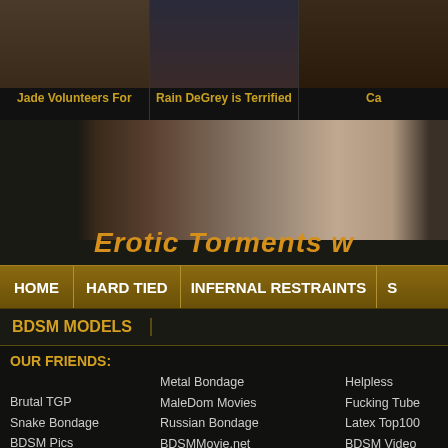[Figure (photo): Three thumbnail images at top: 'Jade Volunteers For', 'Rain DeGrey is Terrified', and a partially visible third thumbnail]
Jade Volunteers For
Rain DeGrey is Terrified
[Figure (photo): Large main image showing restrained legs/feet on a dark surface]
Erotic Torments w
HOME | HARD TIED | INFERNAL RESTRAINTS | S
BDSM MODELS
OUR FRIENDS:
Metal Bondage
MaleDom Movies
Russian Bondage
BDSMMovie.net
FreeBDSM.org
Kinkiest BDSM
Fetish SlaveGirls
Medical Bondage
FemDom Pics
Helpless Fucking Tube
Latex Top100
BDSM Video Tube
Sado Girl
BDSM Sex Orgies
Dirty Boundaries
BDSM All Pics
Sadism Pics
Extreme BDSM Vids
Brutal TGP
Snake Bondage
BDSM Pics
Free Bdsm
Lesbian Bondage
Girls in Chastity Belts